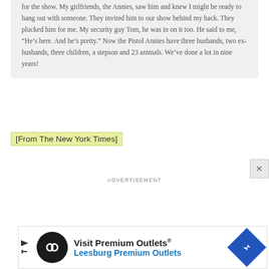for the show. My girlfriends, the Annies, saw him and knew I might be ready to hang out with someone. They invited him to our show behind my back. They plucked him for me. My security guy Tom, he was in on it too. He said to me, “He’s here. And he’s pretty.” Now the Pistol Annies have three husbands, two ex-husbands, three children, a stepson and 23 animals. We’ve done a lot in nine years!
[From The New York Times]
ADVERTISEMENT
[Figure (other): Advertisement banner for Visit Premium Outlets / Leesburg Premium Outlets with infinity logo and direction arrow]